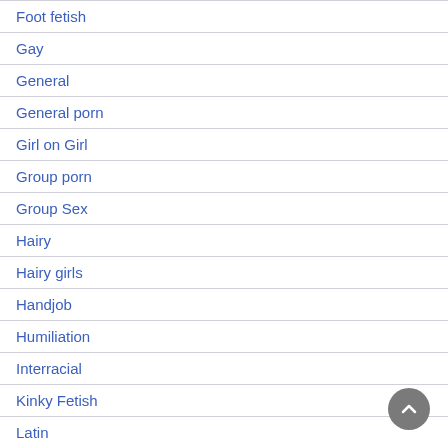Foot fetish
Gay
General
General porn
Girl on Girl
Group porn
Group Sex
Hairy
Hairy girls
Handjob
Humiliation
Interracial
Kinky Fetish
Latin
Latin girl